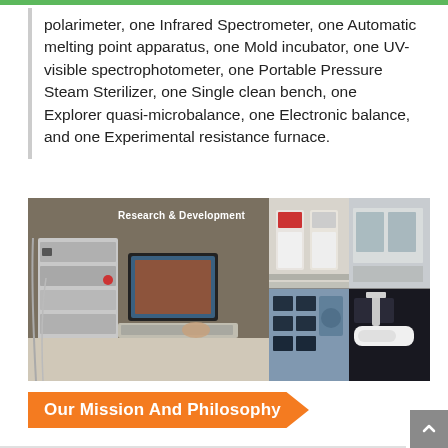polarimeter, one Infrared Spectrometer, one Automatic melting point apparatus, one Mold incubator, one UV-visible spectrophotometer, one Portable Pressure Steam Sterilizer, one Single clean bench, one Explorer quasi-microbalance, one Electronic balance, and one Experimental resistance furnace.
[Figure (photo): Research & Development lab photo collage showing laboratory equipment including HPLC system with computer workstation, analytical instruments, clean room facilities, and various lab devices arranged in a grid layout.]
Our Mission And Philosophy